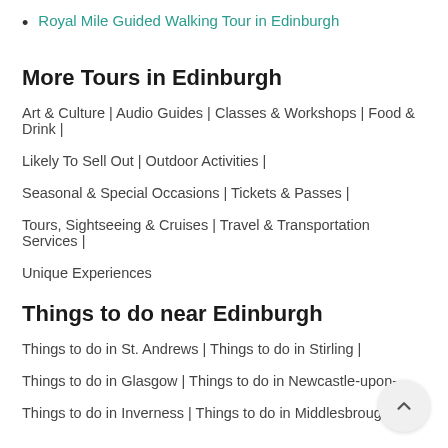Royal Mile Guided Walking Tour in Edinburgh
More Tours in Edinburgh
Art & Culture | Audio Guides | Classes & Workshops | Food & Drink | Likely To Sell Out | Outdoor Activities | Seasonal & Special Occasions | Tickets & Passes | Tours, Sightseeing & Cruises | Travel & Transportation Services | Unique Experiences
Things to do near Edinburgh
Things to do in St. Andrews | Things to do in Stirling | Things to do in Glasgow | Things to do in Newcastle-upon- | Things to do in Inverness | Things to do in Middlesbrough |